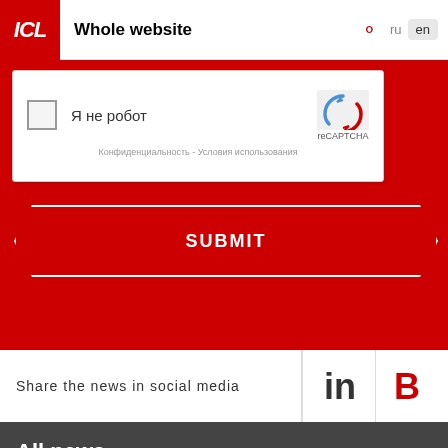ICL | Whole website | ru | en
[Figure (screenshot): reCAPTCHA widget with checkbox labeled 'Я не робот' (I am not a robot), reCAPTCHA logo and text, privacy and terms links in Russian: 'Конфиденциальность - Условия использования']
SUBMIT
Share the news in social media
All news
©2022, GC ICL
OFFICIAL INFORMATION
Privacy Policy
Terms of Use